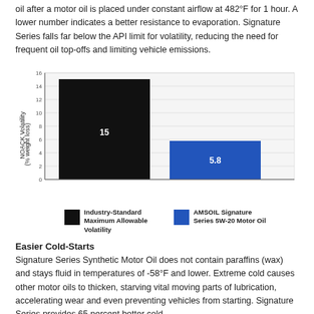oil after a motor oil is placed under constant airflow at 482°F for 1 hour. A lower number indicates a better resistance to evaporation. Signature Series falls far below the API limit for volatility, reducing the need for frequent oil top-offs and limiting vehicle emissions.
[Figure (bar-chart): NOACK Volatility (% weight loss)]
Easier Cold-Starts
Signature Series Synthetic Motor Oil does not contain paraffins (wax) and stays fluid in temperatures of -58°F and lower. Extreme cold causes other motor oils to thicken, starving vital moving parts of lubrication, accelerating wear and even preventing vehicles from starting. Signature Series provides 65 percent better cold-